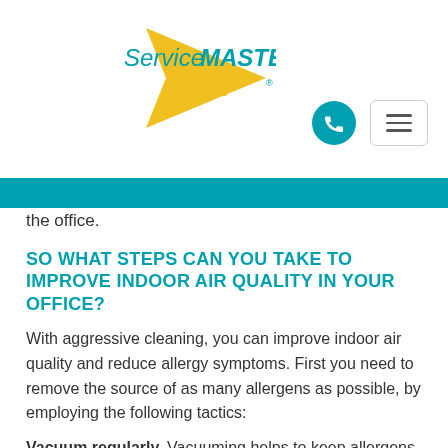[Figure (logo): ServiceMaster Clean logo with teal text and yellow star arrow]
[Figure (infographic): Teal phone icon circle button and hamburger menu button]
the office.
SO WHAT STEPS CAN YOU TAKE TO IMPROVE INDOOR AIR QUALITY IN YOUR OFFICE?
With aggressive cleaning, you can improve indoor air quality and reduce allergy symptoms. First you need to remove the source of as many allergens as possible, by employing the following tactics:
Vacuum regularly.  Vacuuming helps to keep allergens to a minimum.  However, it is important that the proper equipment is used.  A vacuum with